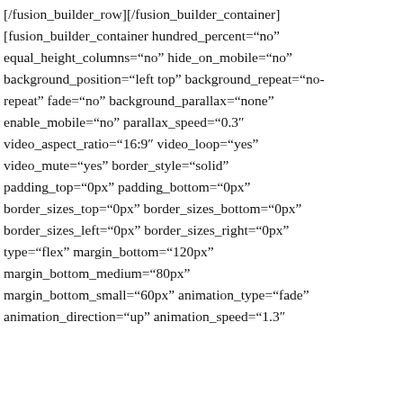[/fusion_builder_row][/fusion_builder_container] [fusion_builder_container hundred_percent="no" equal_height_columns="no" hide_on_mobile="no" background_position="left top" background_repeat="no-repeat" fade="no" background_parallax="none" enable_mobile="no" parallax_speed="0.3" video_aspect_ratio="16:9" video_loop="yes" video_mute="yes" border_style="solid" padding_top="0px" padding_bottom="0px" border_sizes_top="0px" border_sizes_bottom="0px" border_sizes_left="0px" border_sizes_right="0px" type="flex" margin_bottom="120px" margin_bottom_medium="80px" margin_bottom_small="60px" animation_type="fade" animation_direction="up" animation_speed="1.3"